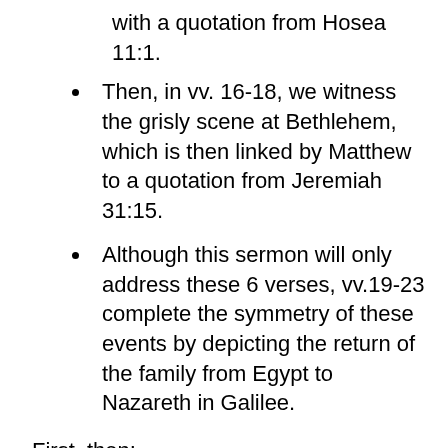with a quotation from Hosea 11:1.
Then, in vv. 16-18, we witness the grisly scene at Bethlehem, which is then linked by Matthew to a quotation from Jeremiah 31:15.
Although this sermon will only address these 6 verses, vv.19-23 complete the symmetry of these events by depicting the return of the family from Egypt to Nazareth in Galilee.
First, then:
I. IN TELLING OF THE